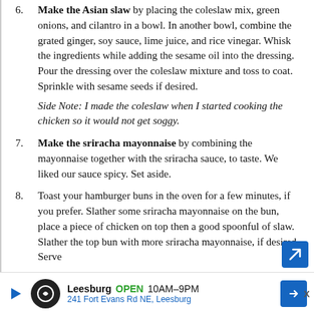6. Make the Asian slaw by placing the coleslaw mix, green onions, and cilantro in a bowl. In another bowl, combine the grated ginger, soy sauce, lime juice, and rice vinegar. Whisk the ingredients while adding the sesame oil into the dressing. Pour the dressing over the coleslaw mixture and toss to coat. Sprinkle with sesame seeds if desired.
Side Note: I made the coleslaw when I started cooking the chicken so it would not get soggy.
7. Make the sriracha mayonnaise by combining the mayonnaise together with the sriracha sauce, to taste. We liked our sauce spicy. Set aside.
8. Toast your hamburger buns in the oven for a few minutes, if you prefer. Slather some sriracha mayonnaise on the bun, place a piece of chicken on top then a good spoonful of slaw. Slather the top bun with more sriracha mayonnaise, if desired. Serve
Leesburg OPEN 10AM–9PM 241 Fort Evans Rd NE, Leesburg